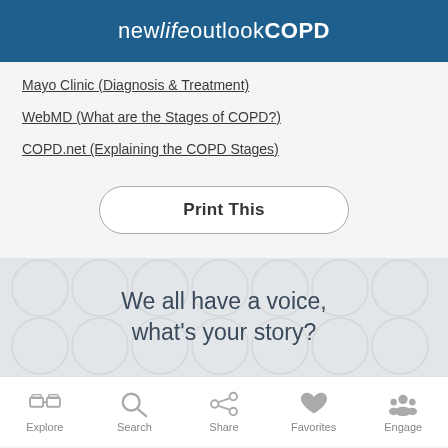newlifeoutlookCOPD
Mayo Clinic (Diagnosis & Treatment)
WebMD (What are the Stages of COPD?)
COPD.net (Explaining the COPD Stages)
Print This
We all have a voice, what's your story?
Explore   Search   Share   Favorites   Engage